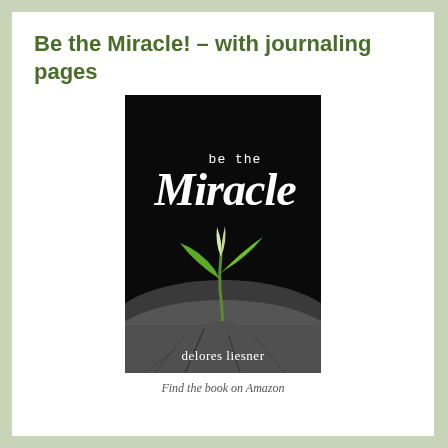Be the Miracle! – with journaling pages
[Figure (illustration): Book cover of 'Be the Miracle' by Delores Liesner. Black background with white script text reading 'be the Miracle' at the top, and a green plant seedling sprouting through cracked asphalt pavement at the bottom. Author name 'delores liesner' in white text at the bottom.]
Find the book on Amazon